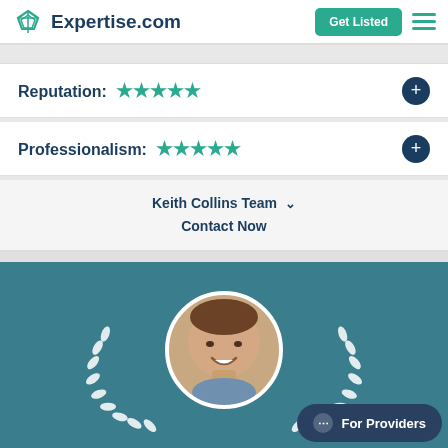Expertise.com | Get Listed
Reputation: ★★★★★
Professionalism: ★★★★★
Keith Collins Team
Contact Now
[Figure (photo): Profile photo of a smiling man in a circular frame with white laurel wreath decoration, on a teal background. A 'For Providers' chat button appears in the bottom right.]